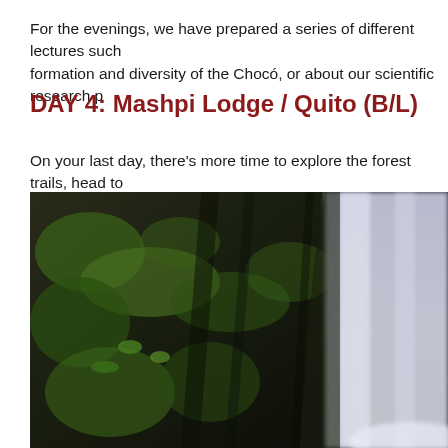For the evenings, we have prepared a series of different lectures such as about the formation and diversity of the Chocó, or about our scientific research p…
DAY 4: Mashpi Lodge / Quito (B/L)
On your last day, there's more time to explore the forest trails, head to…
[Figure (photo): Close-up photograph of a waterfall beside a moss-covered rocky cliff with lush green ferns and vegetation, taken with a long exposure creating a silky water effect on the right side.]